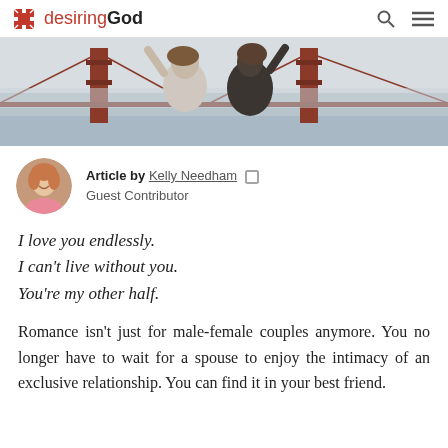desiringGod
[Figure (photo): Two young women with arms raised viewed from behind, standing before the Golden Gate Bridge in San Francisco, foggy sky.]
Article by Kelly Needham  Guest Contributor
I love you endlessly.
I can’t live without you.
You’re my other half.
Romance isn’t just for male-female couples anymore. You no longer have to wait for a spouse to enjoy the intimacy of an exclusive relationship. You can find it in your best friend.